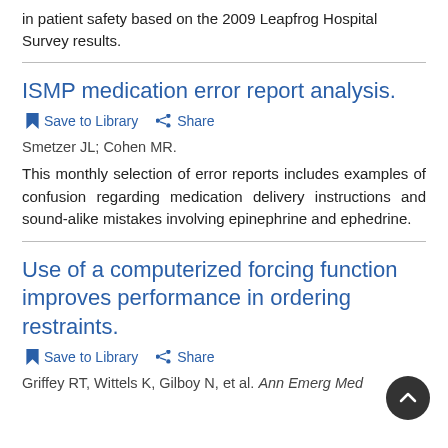in patient safety based on the 2009 Leapfrog Hospital Survey results.
ISMP medication error report analysis.
Save to Library   Share
Smetzer JL; Cohen MR.
This monthly selection of error reports includes examples of confusion regarding medication delivery instructions and sound-alike mistakes involving epinephrine and ephedrine.
Use of a computerized forcing function improves performance in ordering restraints.
Save to Library   Share
Griffey RT, Wittels K, Gilboy N, et al. Ann Emerg Med